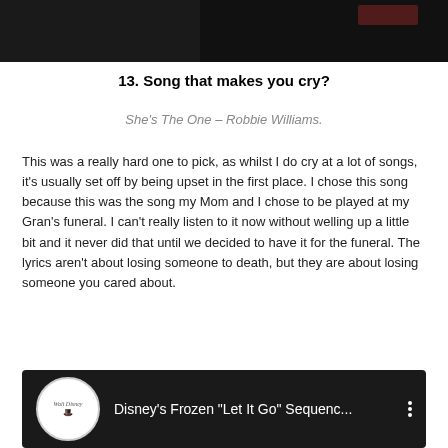[Figure (screenshot): Top portion of a dark video thumbnail, partially visible at the top of the page]
13. Song that makes you cry?
She's The One – Robbie Williams.
This was a really hard one to pick, as whilst I do cry at a lot of songs, it's usually set off by being upset in the first place. I chose this song because this was the song my Mom and I chose to be played at my Gran's funeral. I can't really listen to it now without welling up a little bit and it never did that until we decided to have it for the funeral. The lyrics aren't about losing someone to death, but they are about losing someone you cared about.
[Figure (screenshot): YouTube video thumbnail for Disney's Frozen 'Let It Go' Sequenc... with Walt Disney logo circle icon on black background]